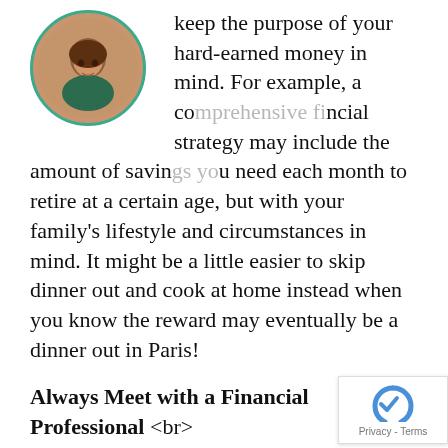[Figure (photo): Circular profile photo of a woman with dark hair, framed with a teal/green circular border, positioned in the upper left]
keep the purpose of your hard-earned money in mind. For example, a comprehensive financial strategy may include the amount of savings you need each month to retire at a certain age, but with your family's lifestyle and circumstances in mind. It might be a little easier to skip dinner out and cook at home instead when you know the reward may eventually be a dinner out in Paris!
Always Meet with a Financial Professional <br>
There are many schools of thought as to the best ways to save and invest. Some financial professionals may recommend paying off all debt (except your home mortgage) before saving anything. Others recommend that clients pay off debt while simultaneously saving for retirement, devoting a certain percentage of income to each until the debt is gone and retirement savings can be increased. If you're just getting started, meet with a qualified and licensed financial professional who can help you figure out which option